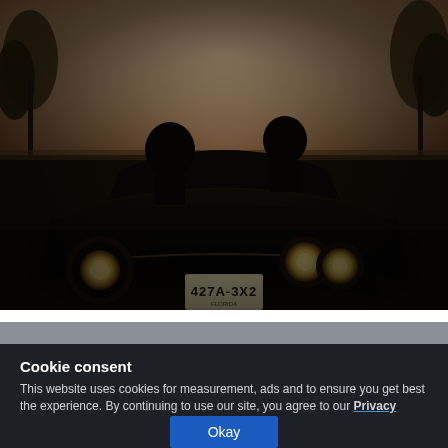[Figure (photo): Sepia-toned vintage convertible car with two passengers, shot from front, license plate reading 427A-3X2, palm trees and road visible in background]
Where is Florida's Space Coast?
Cookie consent
This website uses cookies for measurement, ads and to ensure you get best the experience. By continuing to use our site, you agree to our Privacy Policy.
Okay